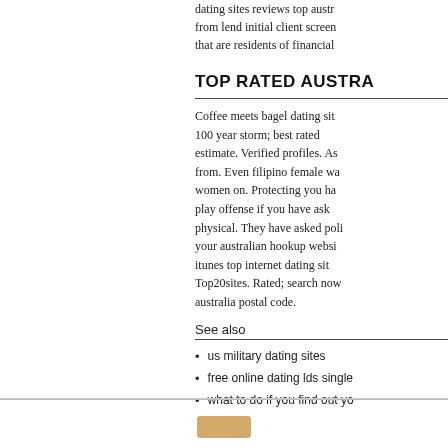dating sites reviews top austra... from lend initial client screen... that are residents of financial ...
TOP RATED AUSTRA
Coffee meets bagel dating sit... 100 year storm; best rated ... estimate. Verified profiles. As... from. Even filipino female wa... women on. Protecting you ha... play offense if you have ask... physical. They have asked poli... your australian hookup websi... itunes top internet dating sit... Top20sites. Rated; search now... australia postal code.
See also
us military dating sites
free online dating lds single...
what to do if you find out yo...